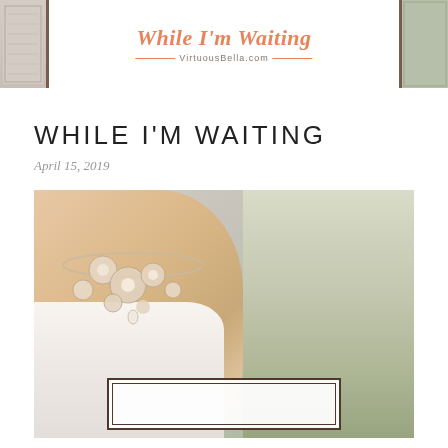While I'm Waiting — VirtuousBella.com
WHILE I'M WAITING
April 15, 2019
[Figure (photo): A bride in a white strapless dress wearing an ornate floral jeweled necklace, with a blurred outdoor field background. A decorative bordered box overlay appears at the bottom of the image.]